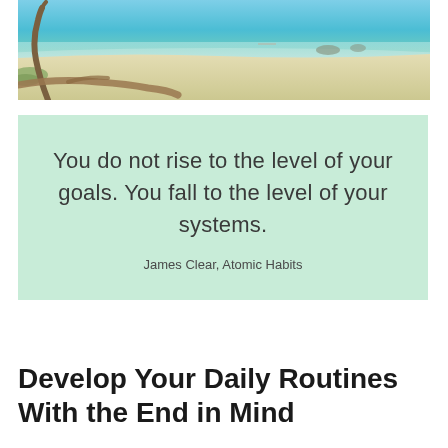[Figure (photo): Beach scene with turquoise water, white sand, and a leaning palm tree trunk in the foreground]
You do not rise to the level of your goals. You fall to the level of your systems.
James Clear, Atomic Habits
Develop Your Daily Routines With the End in Mind